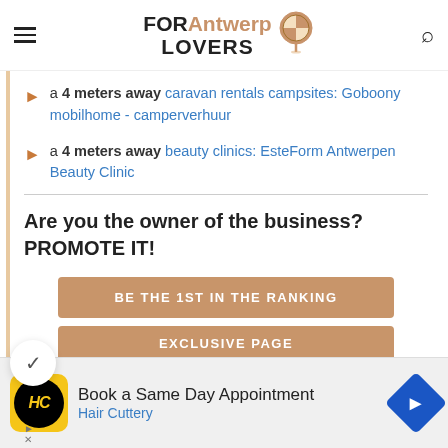FOR Antwerp LOVERS
a 4 meters away caravan rentals campsites: Goboony mobilhome - camperverhuur
a 4 meters away beauty clinics: EsteForm Antwerpen Beauty Clinic
Are you the owner of the business? PROMOTE IT!
BE THE 1ST IN THE RANKING
EXCLUSIVE PAGE
[Figure (infographic): Advertisement banner: Hair Cuttery logo (HC in black circle on yellow background), 'Book a Same Day Appointment' text, 'Hair Cuttery' in blue, navigation arrow icon in blue diamond shape]